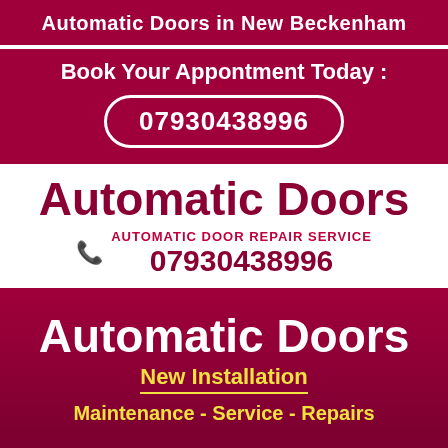Automatic Doors in New Beckenham
Book Your Appontment Today :
07930438996
Automatic Doors
AUTOMATIC DOOR REPAIR SERVICE
07930438996
Automatic Doors
New Installation
Maintenance - Service - Repairs